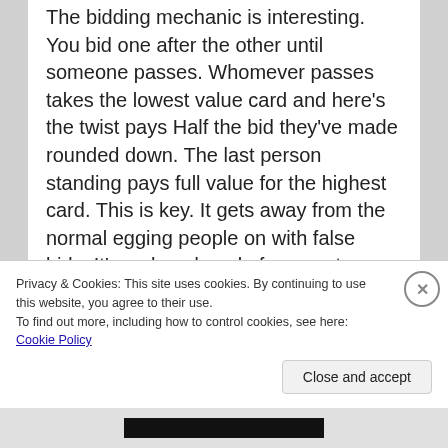The bidding mechanic is interesting. You bid one after the other until someone passes. Whomever passes takes the lowest value card and here's the twist pays Half the bid they've made rounded down. The last person standing pays full value for the highest card. This is key. It gets away from the normal egging people on with false bids. It's a closed pool of money too so there's a limit on what you can do and it's strategic bidding all the way. The second half of the game sees a spread of money cards laid out one per player just like the house cards and players secretly put forward one of their house cards to snatch the best loot. Once
Privacy & Cookies: This site uses cookies. By continuing to use this website, you agree to their use.
To find out more, including how to control cookies, see here: Cookie Policy
Close and accept